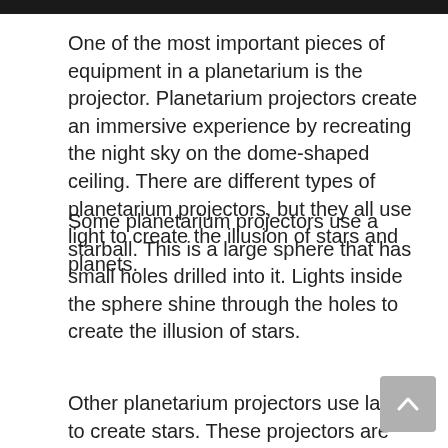[Figure (photo): Dark image bar at top of page (partial image of planetarium or night sky)]
One of the most important pieces of equipment in a planetarium is the projector. Planetarium projectors create an immersive experience by recreating the night sky on the dome-shaped ceiling. There are different types of planetarium projectors, but they all use light to create the illusion of stars and planets.
Some planetarium projectors use a starball. This is a large sphere that has small holes drilled into it. Lights inside the sphere shine through the holes to create the illusion of stars.
Other planetarium projectors use lasers to create stars. These projectors are more